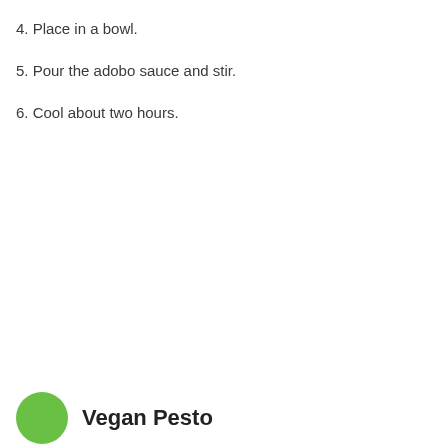4. Place in a bowl.
5. Pour the adobo sauce and stir.
6. Cool about two hours.
Vegan Pesto